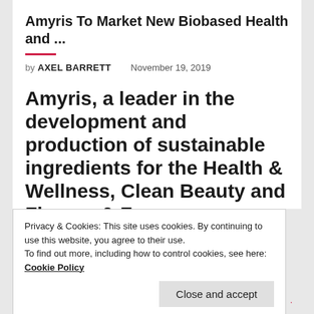Amyris To Market New Biobased Health and ...
by AXEL BARRETT   November 19, 2019
Amyris, a leader in the development and production of sustainable ingredients for the Health & Wellness, Clean Beauty and Flavors & Fragrances markets, today announced
Privacy & Cookies: This site uses cookies. By continuing to use this website, you agree to their use.
To find out more, including how to control cookies, see here: Cookie Policy
Close and accept
· · · · · · · · · · · · · · · · · · · · · · · · · · · · · · · · · · · · · · ·